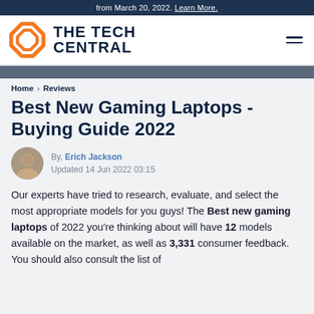from March 20, 2022. Learn More.
[Figure (logo): The Tech Central logo with orange octagon gear icon and dark navy bold text reading THE TECH CENTRAL]
Home > Reviews
Best New Gaming Laptops - Buying Guide 2022
By, Erich Jackson
Updated 14 Jun 2022 03:15
Our experts have tried to research, evaluate, and select the most appropriate models for you guys! The Best new gaming laptops of 2022 you're thinking about will have 12 models available on the market, as well as 3,331 consumer feedback. You should also consult the list of